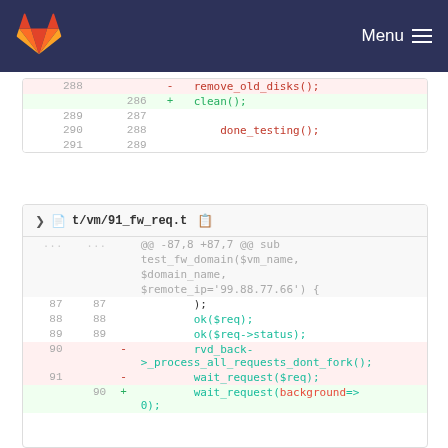GitLab Menu
Diff block 1: lines 288-291 / 286-289
288 - remove_old_disks();
286 + clean();
289 287
290 288   done_testing();
291 289
t/vm/91_fw_req.t
Diff block 2: @@ -87,8 +87,7 @@ sub test_fw_domain($vm_name, $domain_name, $remote_ip='99.88.77.66') {
87 87       );
88 88       ok($req);
89 89       ok($req->status);
90    -    rvd_back->_process_all_requests_dont_fork();
91    -    wait_request($req);
90    +    wait_request(background=>0);